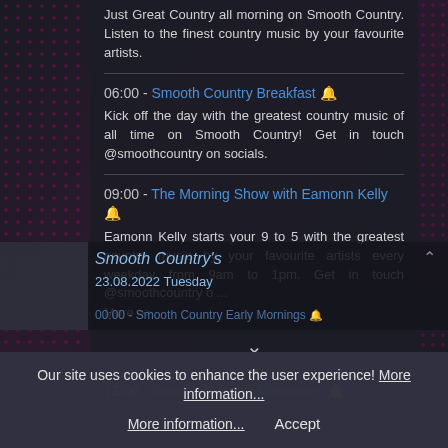Just Great Country all morning on Smooth Country. Listen to the finest country music by your favourite artists.
06:00 - Smooth Country Breakfast 🔔 Kick off the day with the greatest country music of all time on Smooth Country! Get in touch @smoothcountry on socials.
09:00 - The Morning Show with Eamonn Kelly 🔔 Eamonn Kelly starts your 9 to 5 with the greatest country music by your favourite artists every weekday from 9am to 1pm. Get in touch @smoothcountry o ... More >>
13:00 - Smooth Country Afternoons 🔔
Smooth Country's 23.08.2022 Tuesday
00:00 - Smooth Country Early Mornings 🔔
Our site uses cookies to enhance the user experience! More information... Accept